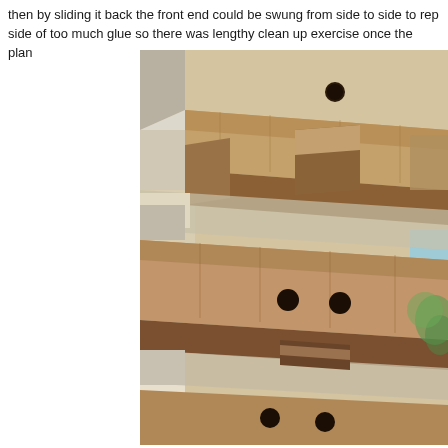then by sliding it back the front end could be swung from side to side to rep side of too much glue so there was lengthy clean up exercise once the plan
[Figure (photo): Photograph taken from below looking up at wooden beams/rafters of a structure (pergola or outdoor structure). Multiple horizontal wooden beams are visible with drilled holes, showing wood grain texture. Some gaps between beams reveal glimpses of sky and surrounding vegetation. The wood appears to be natural/unfinished with visible grain and bolt holes.]